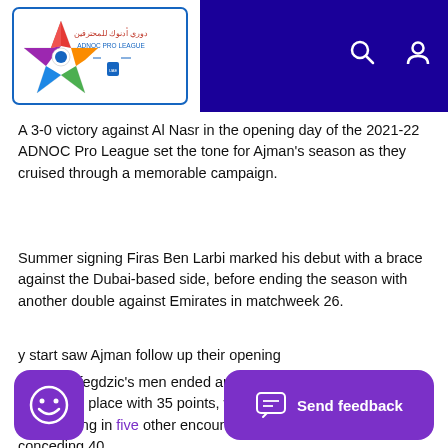[Figure (logo): ADNOC Pro League logo with colorful star/pentagon shape and Arabic text on white background with blue border]
A 3-0 victory against Al Nasr in the opening day of the 2021-22 ADNOC Pro League set the tone for Ajman’s season as they cruised through a memorable campaign.
Summer signing Firas Ben Larbi marked his debut with a brace against the Dubai-based side, before ending the season with another double against Emirates in matchweek 26.
Goran Tufegdzic's men ended an exceptional league campaign in seventh place with 35 points, winning ten games, losing 11, and drawing in five other encounters, scoring 35 goals and conceding 40.
y start saw Ajman follow up their opening
dropping two points in matchweek 2, before suffering two